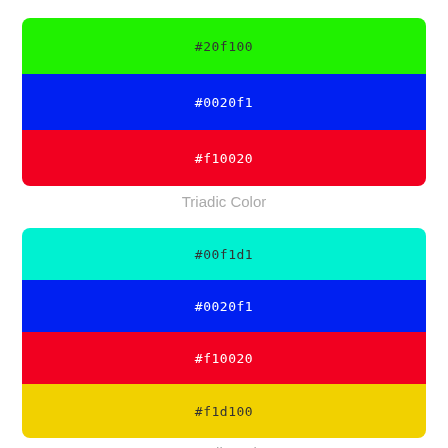[Figure (infographic): Triadic color palette showing three horizontal color strips: green (#20f100), blue (#0020f1), red (#f10020)]
Triadic Color
[Figure (infographic): Tetradic color palette showing four horizontal color strips: cyan (#00f1d1), blue (#0020f1), red (#f10020), yellow (#f1d100)]
Tetradic Color